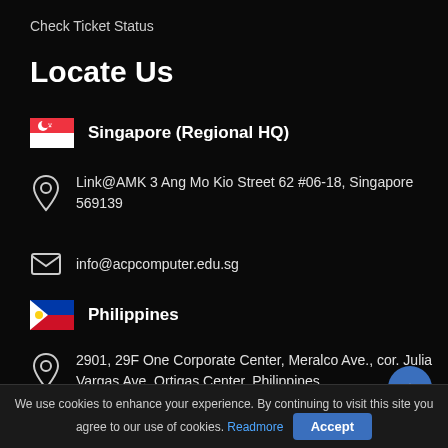Check Ticket Status
Locate Us
🇸🇬 Singapore (Regional HQ)
Link@AMK 3 Ang Mo Kio Street 62 #06-18, Singapore 569139
info@acpcomputer.edu.sg
🇵🇭 Philippines
2901, 29F One Corporate Center, Meralco Ave., cor. Julia Vargas Ave. Ortigas Center, Philippines
info.ph@acpcomputer.edu.sg
We use cookies to enhance your experience. By continuing to visit this site you agree to our use of cookies. Readmore Accept